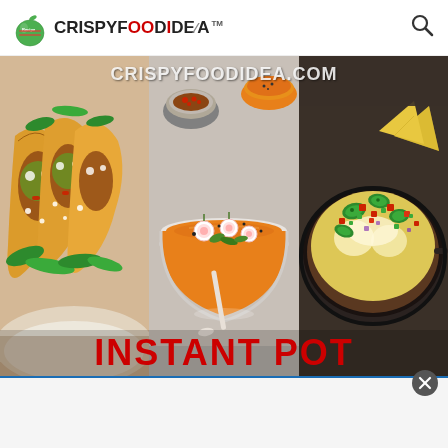[Figure (logo): CrispyFoodIdea.com website logo with apple icon and TM mark, plus search icon on the right]
[Figure (photo): Three-panel food collage showing: left panel - tacos with cilantro and toppings on a plate; center panel - orange/tomato soup in a bowl with radish garnish and a small bowl of spices; right panel - skillet dish with melted cheese, jalapenos, and chopped vegetables (nachos/enchiladas). Watermark text CRISPYFOODIDEA.COM across top. Red text INSTANT POT across bottom.]